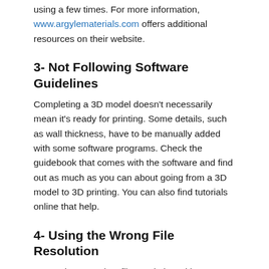using a few times. For more information, www.argylematerials.com offers additional resources on their website.
3- Not Following Software Guidelines
Completing a 3D model doesn't necessarily mean it's ready for printing. Some details, such as wall thickness, have to be manually added with some software programs. Check the guidebook that comes with the software and find out as much as you can about going from a 3D model to 3D printing. You can also find tutorials online that help.
4- Using the Wrong File Resolution
A 3D printer needs a file resolution with a tolerance of about 0.01mm in size. Anything smaller will be